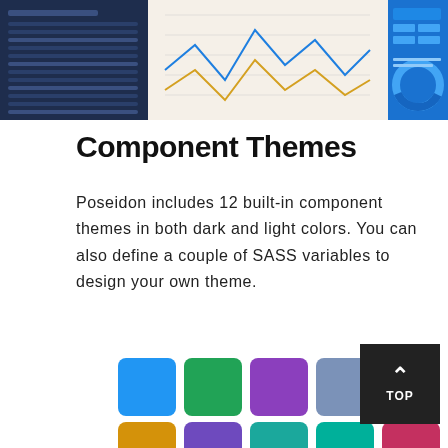[Figure (screenshot): Dashboard UI mockup showing dark sidebar with data table, line chart with beige background, and blue mobile UI with donut chart]
Component Themes
Poseidon includes 12 built-in component themes in both dark and light colors. You can also define a couple of SASS variables to design your own theme.
[Figure (infographic): Two rows of five colored rounded squares representing component themes: blue, green, purple, steel blue, magenta (top row); yellow-orange, violet, teal, teal-green, crimson (bottom row)]